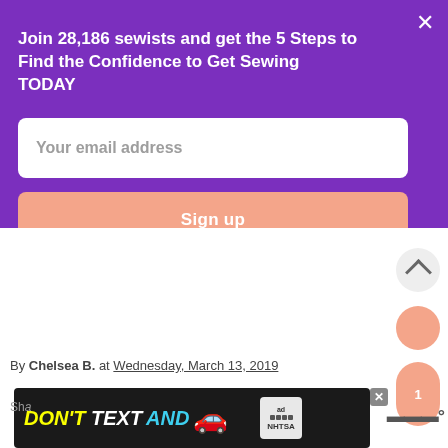Join 28,186 sewists and get the 5 Steps to Find the Confidence to Get Sewing TODAY
Your email address
Sign up
By Chelsea B. at Wednesday, March 13, 2019
[Figure (screenshot): DON'T TEXT AND [car emoji] advertisement banner with ad badge and NHTSA logo]
1